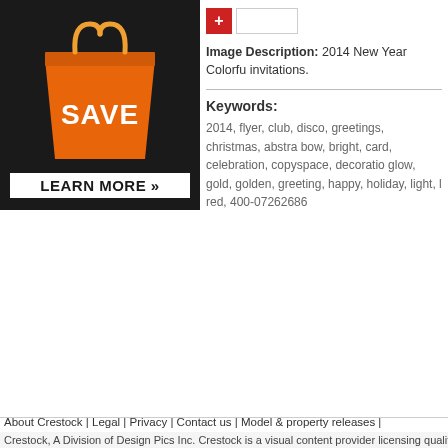[Figure (photo): Orange shopping bag with SAVE text and Learn More banner on dark background]
[Figure (other): Red plus button and white input box]
Image Description: 2014 New Year Colorfu invitations.
Keywords:
2014, flyer, club, disco, greetings, christmas, abstra bow, bright, card, celebration, copyspace, decoratio glow, gold, golden, greeting, happy, holiday, light, red, 400-07262686
About Crestock | Legal | Privacy | Contact us | Model & property releases |
Crestock, A Division of Design Pics Inc. Crestock is a visual content provider licensing quality royalty-